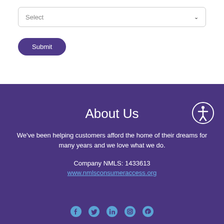[Figure (screenshot): A dropdown select box with 'Select' placeholder text and a chevron arrow on the right, inside a white form area]
Submit
About Us
We've been helping customers afford the home of their dreams for many years and we love what we do.
Company NMLS: 1433613
www.nmlsconsumeraccess.org
[Figure (illustration): Social media icons: Facebook, Twitter, LinkedIn, Instagram, Pinterest in blue color]